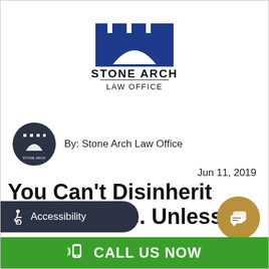[Figure (logo): Stone Arch Law Office logo — blue castle/arch icon above text reading STONE ARCH / Law Office]
[Figure (logo): Small round dark circle with white Stone Arch logo inside]
By: Stone Arch Law Office
Jun 11, 2019
You Can't Disinherit Your Spouse. Unless...
Accessibility
CALL US NOW